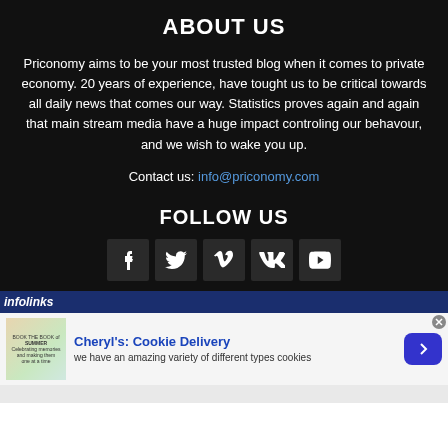ABOUT US
Priconomy aims to be your most trusted blog when it comes to private economy. 20 years of experience, have tought us to be critical towards all daily news that comes our way. Statistics proves again and again that main stream media have a huge impact controling our behavour, and we wish to wake you up.
Contact us: info@priconomy.com
FOLLOW US
[Figure (infographic): Social media icons: Facebook (f), Twitter (bird), Vimeo (V), VK (VK), YouTube (play button)]
[Figure (infographic): Infolinks advertisement bar with cookie delivery ad: Cheryl's: Cookie Delivery - we have an amazing variety of different types cookies]